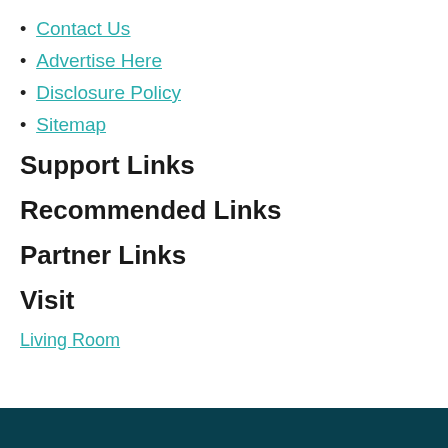Contact Us
Advertise Here
Disclosure Policy
Sitemap
Support Links
Recommended Links
Partner Links
Visit
Living Room